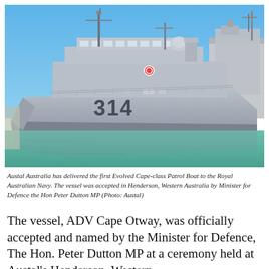[Figure (photo): A grey naval patrol boat numbered 314 docked at a pier, with clear blue sky and calm green water. Another vessel is visible docked to the right in the background.]
Austal Australia has delivered the first Evolved Cape-class Patrol Boat to the Royal Australian Navy. The vessel was accepted in Henderson, Western Australia by Minister for Defence the Hon Peter Dutton MP (Photo: Austal)
The vessel, ADV Cape Otway, was officially accepted and named by the Minister for Defence, The Hon. Peter Dutton MP at a ceremony held at Austal's Henderson, Western